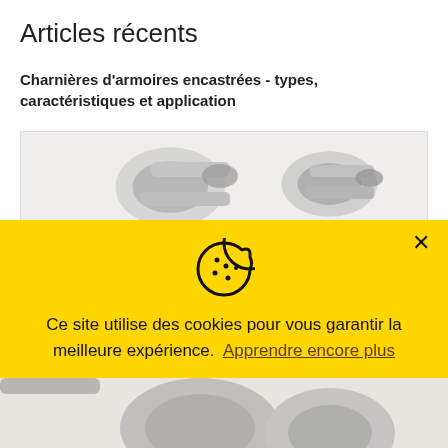Articles récents
Charnières d'armoires encastrées - types, caractéristiques et application
[Figure (photo): Photo of metallic cabinet hinges on white background]
[Figure (infographic): Cookie consent banner overlay with cookie icon, text 'Ce site utilise des cookies pour vous garantir la meilleure expérience. Apprendre encore plus', and buttons 'Préférences', 'J'accepte', 'Déclin']
[Figure (photo): Partial photo of metallic hinges visible at bottom of page]